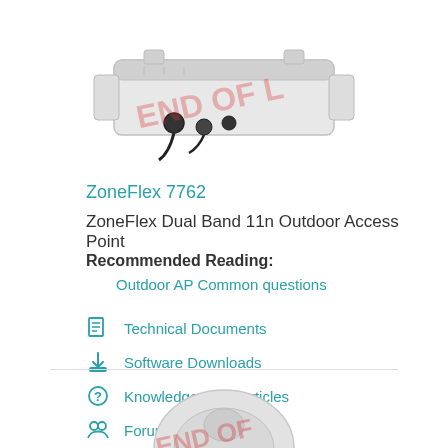[Figure (photo): ZoneFlex 7762 outdoor access point device, white/grey rectangular unit with antenna connectors, 'END OF LIFE' watermark overlaid in red]
ZoneFlex 7762
ZoneFlex Dual Band 11n Outdoor Access Point
Recommended Reading:
Outdoor AP Common questions
Technical Documents
Software Downloads
Knowledge Base Articles
Forum Discussions
[Figure (photo): Partial view of another Ruckus outdoor access point, dome-shaped, white/grey, with 'END OF LIFE' watermark in red]